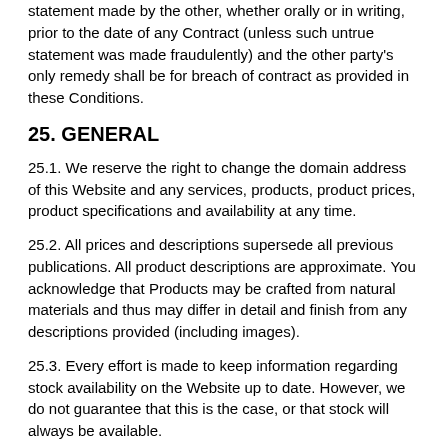statement made by the other, whether orally or in writing, prior to the date of any Contract (unless such untrue statement was made fraudulently) and the other party's only remedy shall be for breach of contract as provided in these Conditions.
25. GENERAL
25.1. We reserve the right to change the domain address of this Website and any services, products, product prices, product specifications and availability at any time.
25.2. All prices and descriptions supersede all previous publications. All product descriptions are approximate. You acknowledge that Products may be crafted from natural materials and thus may differ in detail and finish from any descriptions provided (including images).
25.3. Every effort is made to keep information regarding stock availability on the Website up to date. However, we do not guarantee that this is the case, or that stock will always be available.
25.4. If any provision of these terms and conditions is held by any...